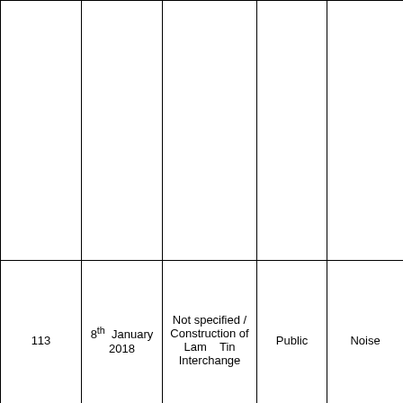|  |  |  |  |  |
| 113 | 8th January 2018 | Not specified / Construction of Lam Tin Interchange | Public | Noise |